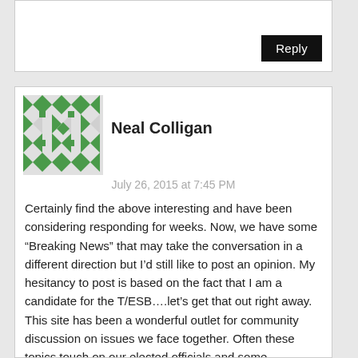Reply
Neal Colligan
July 26, 2015 at 7:45 PM
Certainly find the above interesting and have been considering responding for weeks. Now, we have some “Breaking News” that may take the conversation in a different direction but I’d still like to post an opinion. My hesitancy to post is based on the fact that I am a candidate for the T/ESB….let’s get that out right away. This site has been a wonderful outlet for community discussion on issues we face together. Often these topics touch on our elected officials and some comments can be construed as “political” but mostly (my opinion as a contributor) we’ve all tried to stick to